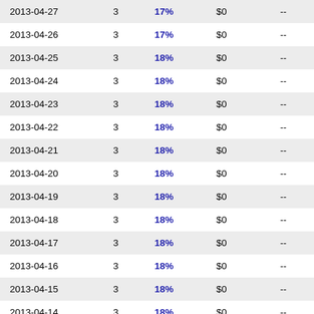| 2013-04-27 | 3 | 17% | $0 | -- |
| 2013-04-26 | 3 | 17% | $0 | -- |
| 2013-04-25 | 3 | 18% | $0 | -- |
| 2013-04-24 | 3 | 18% | $0 | -- |
| 2013-04-23 | 3 | 18% | $0 | -- |
| 2013-04-22 | 3 | 18% | $0 | -- |
| 2013-04-21 | 3 | 18% | $0 | -- |
| 2013-04-20 | 3 | 18% | $0 | -- |
| 2013-04-19 | 3 | 18% | $0 | -- |
| 2013-04-18 | 3 | 18% | $0 | -- |
| 2013-04-17 | 3 | 18% | $0 | -- |
| 2013-04-16 | 3 | 18% | $0 | -- |
| 2013-04-15 | 3 | 18% | $0 | -- |
| 2013-04-14 | 3 | 18% | $0 | -- |
| 2013-04-13 | 3 | 18% | $0 | -- |
| 2013-04-12 | 3 | 18% | $0 | -- |